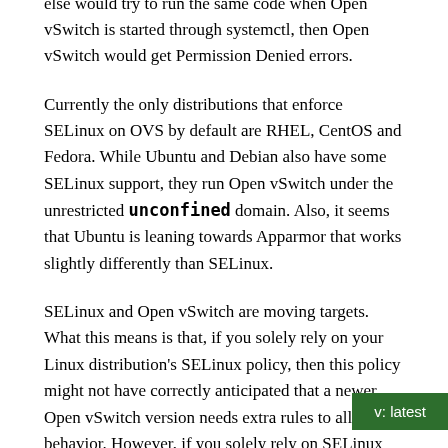anticipate. This means that their feature may have worked out just fine for them. However, if someone else would try to run the same code when Open vSwitch is started through systemctl, then Open vSwitch would get Permission Denied errors.
Currently the only distributions that enforce SELinux on OVS by default are RHEL, CentOS and Fedora. While Ubuntu and Debian also have some SELinux support, they run Open vSwitch under the unrestricted unconfined domain. Also, it seems that Ubuntu is leaning towards Apparmor that works slightly differently than SELinux.
SELinux and Open vSwitch are moving targets. What this means is that, if you solely rely on your Linux distribution's SELinux policy, then this policy might not have correctly anticipated that a newer Open vSwitch version needs extra rules to allow behavior. However, if you solely rely on SELinux policy that ships with Open vSwitch, then Open vSwitch developers might not have correctly anticipated the feature set that your SELinux implementation supports.
Installation